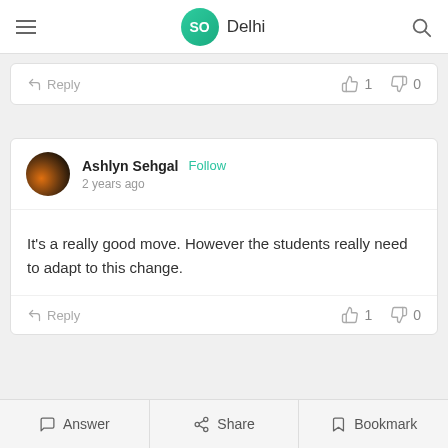SO Delhi
Reply  👍 1  👎 0
Ashlyn Sehgal  Follow
2 years ago
It's a really good move. However the students really need to adapt to this change.
Reply  👍 1  👎 0
Answer  Share  Bookmark